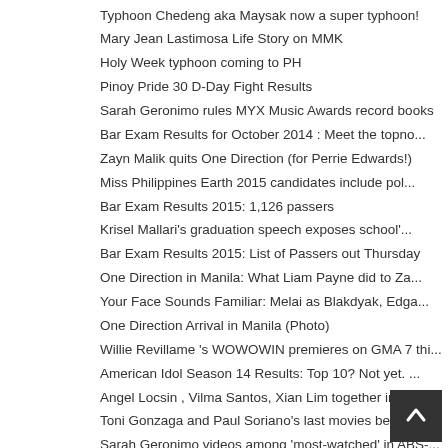Typhoon Chedeng aka Maysak now a super typhoon!
Mary Jean Lastimosa Life Story on MMK
Holy Week typhoon coming to PH
Pinoy Pride 30 D-Day Fight Results
Sarah Geronimo rules MYX Music Awards record books
Bar Exam Results for October 2014 : Meet the topno...
Zayn Malik quits One Direction (for Perrie Edwards!)
Miss Philippines Earth 2015 candidates include pol...
Bar Exam Results 2015: 1,126 passers
Krisel Mallari's graduation speech exposes school'...
Bar Exam Results 2015: List of Passers out Thursday
One Direction in Manila: What Liam Payne did to Za...
Your Face Sounds Familiar: Melai as Blakdyak, Edga...
One Direction Arrival in Manila (Photo)
Willie Revillame 's WOWOWIN premieres on GMA 7 thi...
American Idol Season 14 Results: Top 10? Not yet. ...
Angel Locsin , Vilma Santos, Xian Lim together in ...
Toni Gonzaga and Paul Soriano's last movies before...
Sarah Geronimo videos among 'most-watched' in ABS-...
Pia Wurtzbach and PNoy dating? Kris approves
Darren Espanto's album gets gold record award, but...